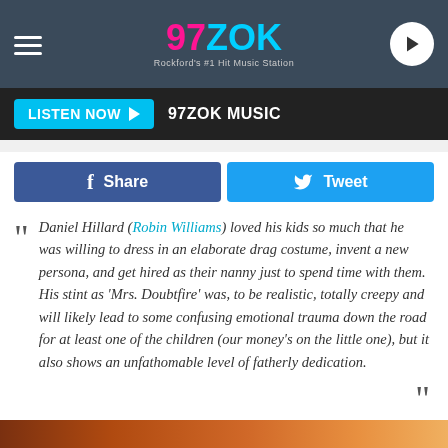[Figure (screenshot): 97ZOK radio station header with logo, hamburger menu, and play button]
LISTEN NOW ▶  97ZOK MUSIC
[Figure (infographic): Facebook Share and Twitter Tweet social sharing buttons]
Daniel Hillard (Robin Williams) loved his kids so much that he was willing to dress in an elaborate drag costume, invent a new persona, and get hired as their nanny just to spend time with them. His stint as 'Mrs. Doubtfire' was, to be realistic, totally creepy and will likely lead to some confusing emotional trauma down the road for at least one of the children (our money's on the little one), but it also shows an unfathomable level of fatherly dedication.